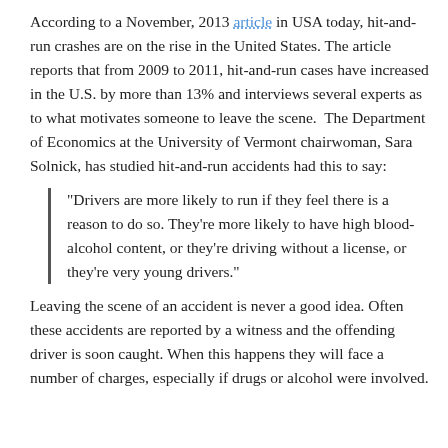According to a November, 2013 article in USA today, hit-and-run crashes are on the rise in the United States. The article reports that from 2009 to 2011, hit-and-run cases have increased in the U.S. by more than 13% and interviews several experts as to what motivates someone to leave the scene.  The Department of Economics at the University of Vermont chairwoman, Sara Solnick, has studied hit-and-run accidents had this to say:
"Drivers are more likely to run if they feel there is a reason to do so. They're more likely to have high blood-alcohol content, or they're driving without a license, or they're very young drivers."
Leaving the scene of an accident is never a good idea. Often these accidents are reported by a witness and the offending driver is soon caught. When this happens they will face a number of charges, especially if drugs or alcohol were involved.